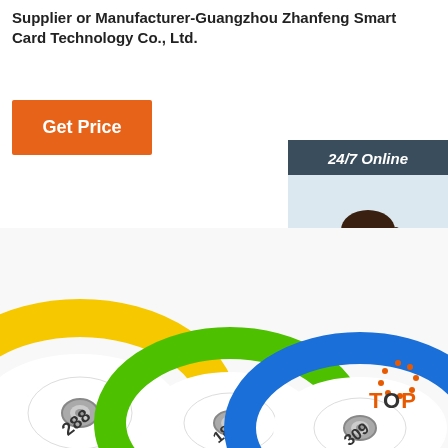Supplier or Manufacturer-Guangzhou Zhanfeng Smart Card Technology Co., Ltd.
[Figure (other): Orange 'Get Price' button]
[Figure (photo): Customer service sidebar with '24/7 Online' header, photo of smiling woman with headset, 'Click here for free chat!' text, and orange 'QUOTATION' button]
[Figure (photo): Product photo showing yellow, green, and blue silicone RFID wristbands with numbered tags (288, 182, 309) lying on a surface]
[Figure (logo): TOP badge with orange dots arranged in a circle in bottom-right corner]